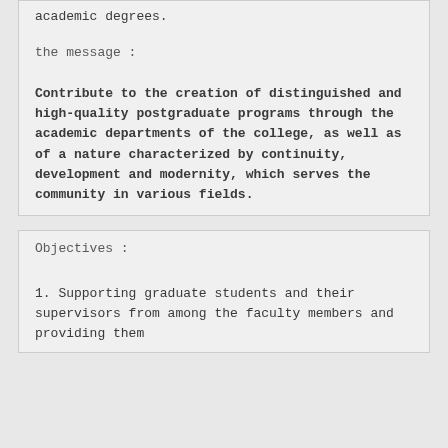academic degrees.
the message :
Contribute to the creation of distinguished and high-quality postgraduate programs through the academic departments of the college, as well as of a nature characterized by continuity, development and modernity, which serves the community in various fields.
Objectives :
1. Supporting graduate students and their supervisors from among the faculty members and providing them